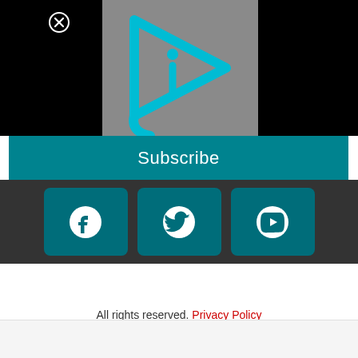[Figure (screenshot): Website screenshot showing a video player thumbnail with a teal/cyan play button logo on gray background, a Subscribe button, social media icons for Facebook, Twitter, and YouTube, and a footer with 'All rights reserved. Privacy Policy']
All rights reserved. Privacy Policy